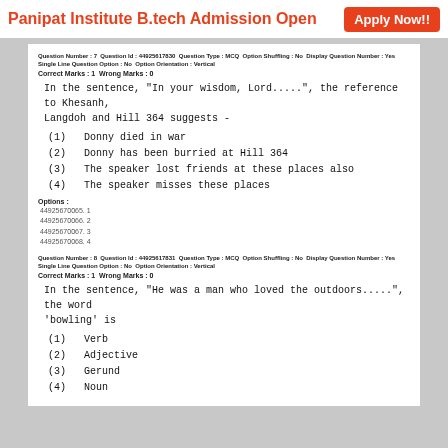Panipat Institute B.tech Admission Open   Apply Now!!
Question Number : 7  Question Id : 44925617830  Question Type : MCQ  Option Shuffling : No  Display Question Number : Yes  Single Line Question Option : No  Option Orientation : Vertical
Correct Marks : 1  Wrong Marks : 0
In the sentence, "In your wisdom, Lord.....", the reference to Khesanh, Langdoh and Hill 364 suggests -
(1)   Donny died in war
(2)   Donny has been burried at Hill 364
(3)   The speaker lost friends at these places also
(4)   The speaker misses these places
Options :
44925670065. 1
44925670066. 2
44925670067. 3
44925670068. 4
Question Number : 8  Question Id : 44925617831  Question Type : MCQ  Option Shuffling : No  Display Question Number : Yes  Single Line Question Option : No  Option Orientation : Vertical
Correct Marks : 1  Wrong Marks : 0
In the sentence, "He was a man who loved the outdoors.....", the word 'bowling' is
(1)   Verb
(2)   Adjective
(3)   Gerund
(4)   Noun